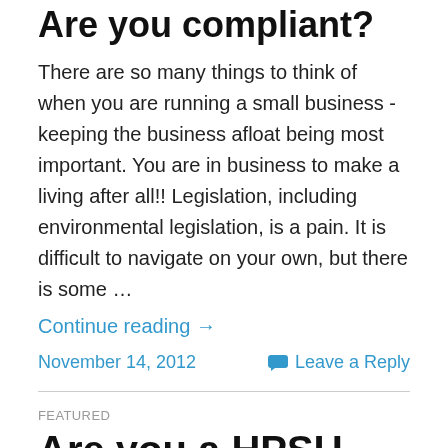Are you compliant?
There are so many things to think of when you are running a small business - keeping the business afloat being most important. You are in business to make a living after all!! Legislation, including environmental legislation, is a pain. It is difficult to navigate on your own, but there is some …
Continue reading →
November 14, 2012
Leave a Reply
FEATURED
Are you a HPSU Female Entrepreneur? Act fast!
This may have passed you by during the year, but if you are a Female Entrepreneur with what Enterprise Ireland